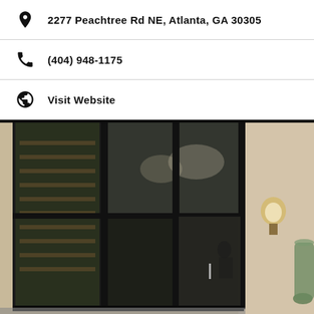2277 Peachtree Rd NE, Atlanta, GA 30305
(404) 948-1175
Visit Website
[Figure (photo): Exterior photo of a building entrance with large floor-to-ceiling dark-framed glass windows and doors, a wall sconce light fixture on the right, and a green vase visible at the far right edge. The interior shows shelving and a reception area.]